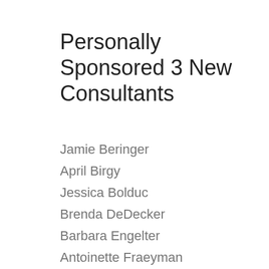Personally Sponsored 3 New Consultants
Jamie Beringer
April Birgy
Jessica Bolduc
Brenda DeDecker
Barbara Engelter
Antoinette Fraeyman
Colleen Hinton
Kristy Lauzon
Leslie McDaniel
Melanie Meek
Kelli Nash
Monica Neuman
Jennifer Ozman
Carmen Quinones